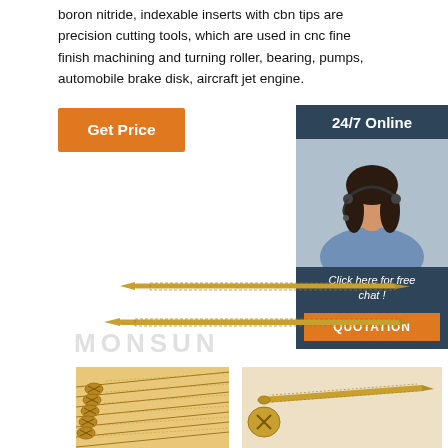boron nitride, indexable inserts with cbn tips are precision cutting tools, which are used in cnc fine finish machining and turning roller, bearing, pumps, automobile brake disk, aircraft jet engine.
[Figure (other): Orange 'Get Price' button]
[Figure (infographic): 24/7 Online chat sidebar with woman wearing headset, dark blue background, 'Click here for free chat!' text, and orange QUOTATION button]
[Figure (photo): Two long yellow zinc-plated wood screws shown horizontally]
[Figure (photo): MONSUN watermark text over screw images]
[Figure (photo): Close-up photo of multiple gold/yellow wood screws bundled together (left bottom)]
[Figure (photo): Single long yellow wood screw with cross-head shown at angle with screw head detail (right bottom)]